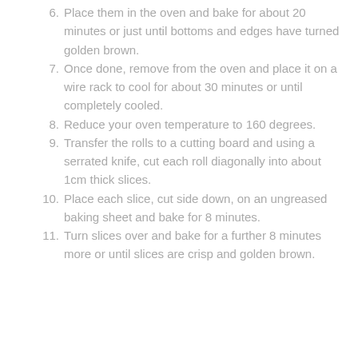6. Place them in the oven and bake for about 20 minutes or just until bottoms and edges have turned golden brown.
7. Once done, remove from the oven and place it on a wire rack to cool for about 30 minutes or until completely cooled.
8. Reduce your oven temperature to 160 degrees.
9. Transfer the rolls to a cutting board and using a serrated knife, cut each roll diagonally into about 1cm thick slices.
10. Place each slice, cut side down, on an ungreased baking sheet and bake for 8 minutes.
11. Turn slices over and bake for a further 8 minutes more or until slices are crisp and golden brown.